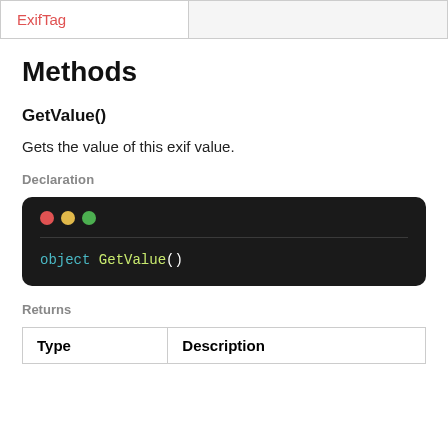| ExifTag |  |
| --- | --- |
|  |
Methods
GetValue()
Gets the value of this exif value.
Declaration
[Figure (screenshot): Code block with dark background showing: object GetValue()]
Returns
| Type | Description |
| --- | --- |